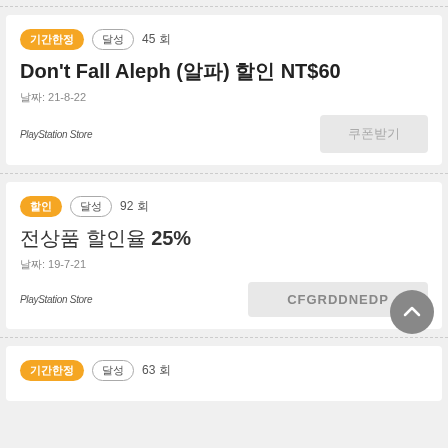첫번째 카드: [배지: 기간한정] [배지: 달성] 45 회 | Don't Fall Aleph (알파) 할인 NT$60 | 날짜: 21-8-22 | PlayStation Store | 버튼: 쿠폰받기
두번째 카드: [배지: 할인] [배지: 달성] 92 회 | 전상품 할인율 25% | 날짜: 19-7-21 | PlayStation Store | 코드: CFGRDDNEDP
세번째 카드: [배지: 기간한정] [배지: 달성] 63 회